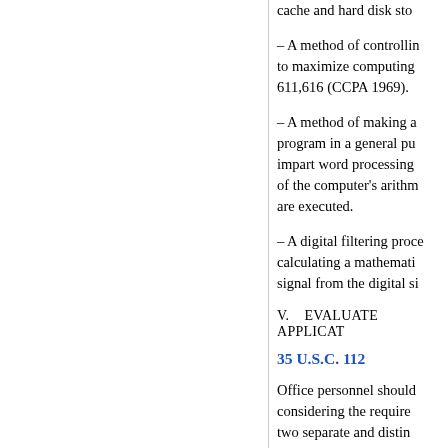cache and hard disk sto
– A method of controllin to maximize computing 611,616 (CCPA 1969).
– A method of making a program in a general pu impart word processing of the computer's arith are executed.
– A digital filtering proce calculating a mathemati signal from the digital si
V.    EVALUATE APPLICAT
35 U.S.C. 112
Office personnel should considering the require two separate and distin regard as the invention, invention. An applicatio evidence including adm that he or she regards t the claims is unclear.
After evaluation of the